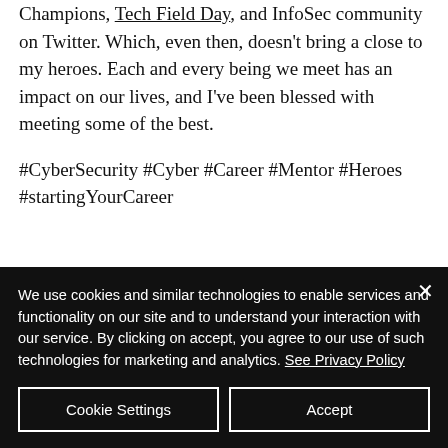Champions, Tech Field Day, and InfoSec community on Twitter. Which, even then, doesn't bring a close to my heroes. Each and every being we meet has an impact on our lives, and I've been blessed with meeting some of the best.
#CyberSecurity #Cyber #Career #Mentor #Heroes #startingYourCareer
We use cookies and similar technologies to enable services and functionality on our site and to understand your interaction with our service. By clicking on accept, you agree to our use of such technologies for marketing and analytics. See Privacy Policy